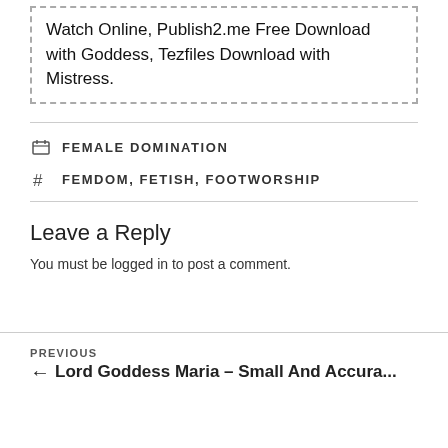Watch Online, Publish2.me Free Download with Goddess, Tezfiles Download with Mistress.
FEMALE DOMINATION
FEMDOM, FETISH, FOOTWORSHIP
Leave a Reply
You must be logged in to post a comment.
PREVIOUS
← Lord Goddess Maria – Small And Accura...